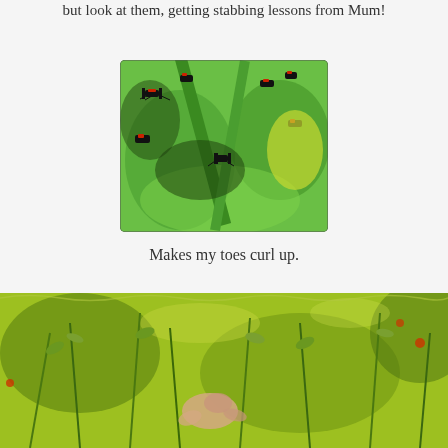but look at them, getting stabbing lessons from Mum!
[Figure (photo): Close-up photo of small red and black insects (likely firebugs or similar beetles) on a green plant stem or branch, with green background]
Makes my toes curl up.
[Figure (photo): Underwater photo showing green aquatic plants/vegetation with a pale pink or beige creature (possibly a fish or amphibian) visible among the plants]